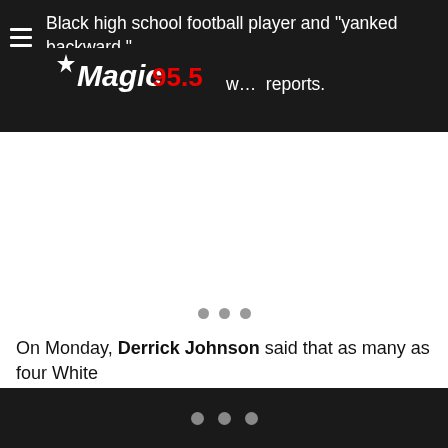Black high school football player and "yanked backward," w… reports.
[Figure (other): Magic 95.5 radio station logo — white stylized script text 'Magic' with a star, red '95.5' text, on dark background]
[Figure (other): Advertisement placeholder area with three gray dots and a horizontal line]
On Monday, Derrick Johnson said that as many as four White
• • •